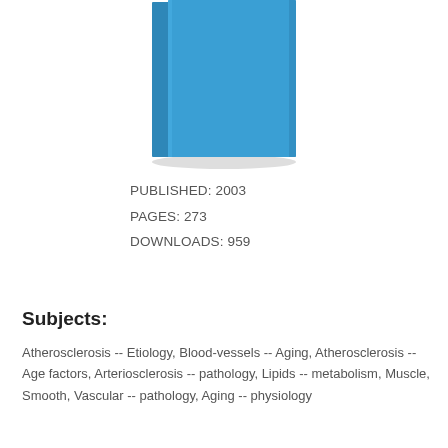[Figure (illustration): Blue hardcover book seen from the front and spine, tilted slightly, with a drop shadow beneath it.]
PUBLISHED: 2003
PAGES: 273
DOWNLOADS: 959
Subjects:
Atherosclerosis -- Etiology, Blood-vessels -- Aging, Atherosclerosis -- Age factors, Arteriosclerosis -- pathology, Lipids -- metabolism, Muscle, Smooth, Vascular -- pathology, Aging -- physiology